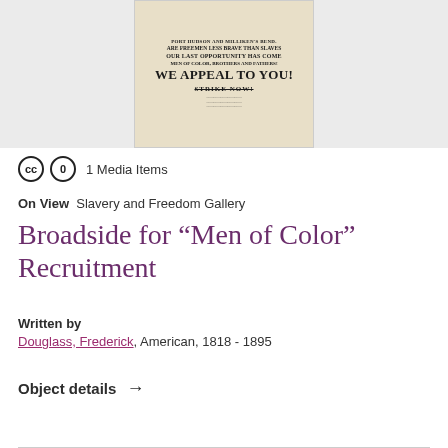[Figure (photo): Historical broadside recruitment poster for Men of Color, with bold text including 'ARE FREEMEN LESS BRAVE THAN SLAVES', 'OUR LAST OPPORTUNITY HAS COME', 'WE APPEAL TO YOU!', 'STRIKE NOW!', printed on aged paper, shown against a grey background.]
1 Media Items
On View  Slavery and Freedom Gallery
Broadside for “Men of Color” Recruitment
Written by
Douglass, Frederick, American, 1818 - 1895
Object details →